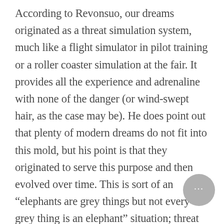According to Revonsuo, our dreams originated as a threat simulation system, much like a flight simulator in pilot training or a roller coaster simulation at the fair. It provides all the experience and adrenaline with none of the danger (or wind-swept hair, as the case may be). He does point out that plenty of modern dreams do not fit into this mold, but his point is that they originated to serve this purpose and then evolved over time. This is sort of an "elephants are grey things but not every grey thing is an elephant" situation; threat simulations were programmed into our brains as dreams, but not every dream is a threat simulation. The most immediate fear for a